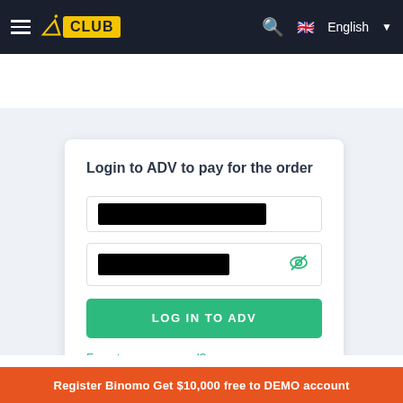≡ ⚡ CLUB | Search | 🇬🇧 English ▾
[Figure (screenshot): Screenshot of ADV login form with username and password fields (both redacted in black), a green LOG IN TO ADV button, and a Forgot your password? link, displayed on a light blue background.]
6. Select the currency of your Advcash account
Register Binomo Get $10,000 free to DEMO account